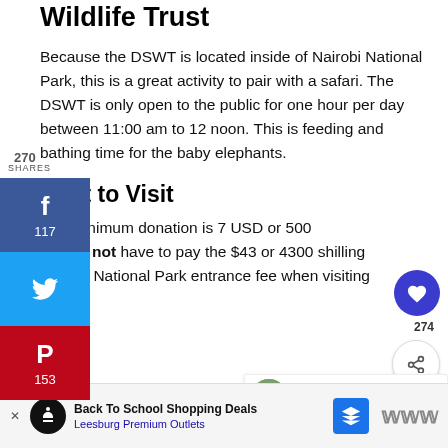Wildlife Trust
Because the DSWT is located inside of Nairobi National Park, this is a great activity to pair with a safari. The DSWT is only open to the public for one hour per day between 11:00 am to 12 noon. This is feeding and bathing time for the baby elephants.
Cost to Visit
The minimum donation is 7 USD or 500...
You do not have to pay the $43 or 4300 shilling Nairobi National Park entrance fee when visiting...